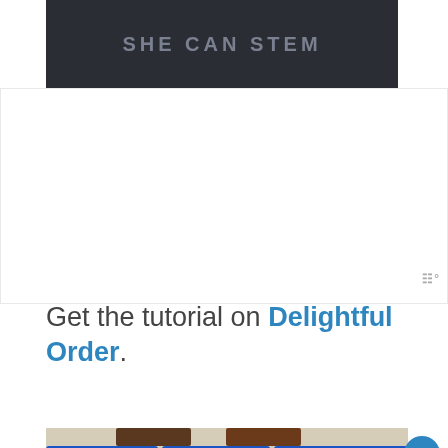[Figure (photo): Dark banner image with text SHE CAN STEM in bold grey uppercase letters on dark background]
Get the tutorial on Delightful Order.
[Figure (photo): Photo of a kitchen drawer organized with blue mesh/perforated baskets containing colorful children's plates, bottles, cups, and bowls]
[Figure (other): Advertisement banner: You can help hungry kids. No Kid Hungry. LEARN HOW button. Orange background.]